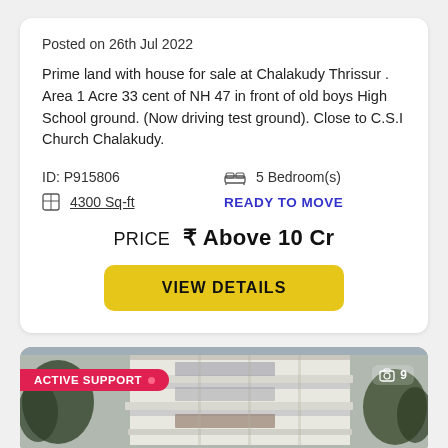Posted on 26th Jul 2022
Prime land with house for sale at Chalakudy Thrissur . Area 1 Acre 33 cent of NH 47 in front of old boys High School ground. (Now driving test ground). Close to C.S.I Church Chalakudy.
ID: P915806  5 Bedroom(s)
4300 Sq-ft  READY TO MOVE
PRICE ₹ Above 10 Cr
VIEW DETAILS
[Figure (photo): Exterior photo of a multi-story residential building with white walls and horizontal balconies, surrounded by trees. Has an ACTIVE SUPPORT badge on the left and a photo count of 9 on the right.]